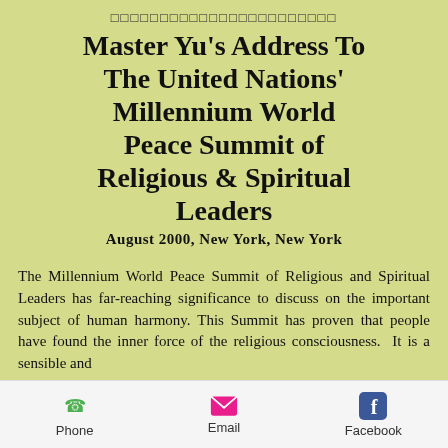□□□□□□□□□□□□□□□□□□□□□□□
Master Yu's Address To The United Nations' Millennium World Peace Summit of Religious & Spiritual Leaders
August 2000, New York, New York
The Millennium World Peace Summit of Religious and Spiritual Leaders has far-reaching significance to discuss on the important subject of human harmony. This Summit has proven that people have found the inner force of the religious consciousness. It is a sensible and
Phone  Email  Facebook